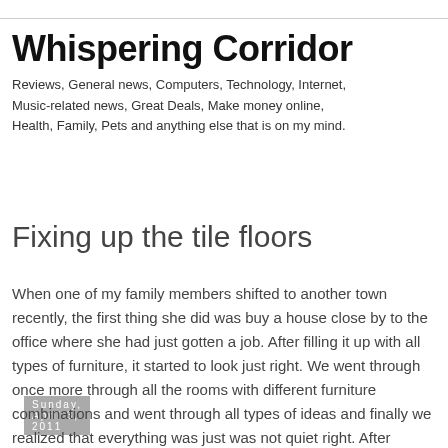Whispering Corridor
Reviews, General news, Computers, Technology, Internet, Music-related news, Great Deals, Make money online, Health, Family, Pets and anything else that is on my mind.
Sunday, April 3, 2011
Fixing up the tile floors
When one of my family members shifted to another town recently, the first thing she did was buy a house close by to the office where she had just gotten a job. After filling it up with all types of furniture, it started to look just right. We went through once more through all the rooms with different furniture combinations and went through all types of ideas and finally we realized that everything was just was not quiet right. After looking at all the different setups at other people houses to get some ideas, we all realized that the one thing which was missing from his place was a new set of floor tiles